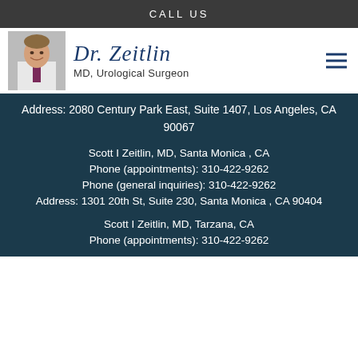CALL US
[Figure (photo): Photo of Dr. Zeitlin in white coat with Dr. Zeitlin signature logo and MD, Urological Surgeon subtitle]
Address: 2080 Century Park East, Suite 1407, Los Angeles, CA 90067
Scott I Zeitlin, MD, Santa Monica , CA
Phone (appointments): 310-422-9262
Phone (general inquiries): 310-422-9262
Address: 1301 20th St, Suite 230, Santa Monica , CA 90404
Scott I Zeitlin, MD, Tarzana, CA
Phone (appointments): 310-422-9262